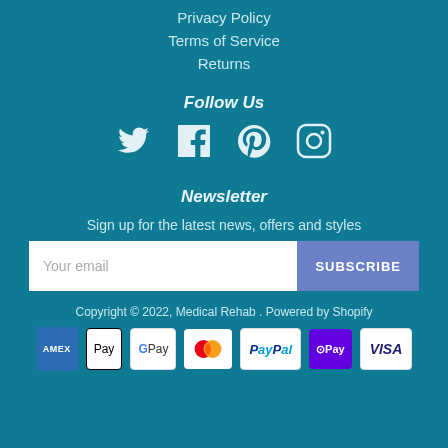Privacy Policy
Terms of Service
Returns
Follow Us
[Figure (illustration): Social media icons: Twitter, Facebook, Pinterest, Instagram]
Newsletter
Sign up for the latest news, offers and styles
Your email / SUBSCRIBE
Copyright © 2022, Medical Rehab . Powered by Shopify
[Figure (logo): Payment method icons: Amex, Apple Pay, Google Pay, Mastercard, PayPal, Shop Pay, Visa]